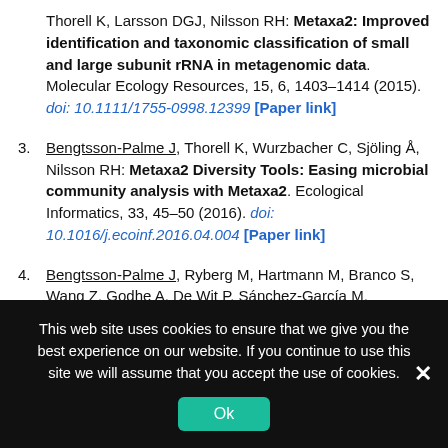Thorell K, Larsson DGJ, Nilsson RH: Metaxa2: Improved identification and taxonomic classification of small and large subunit rRNA in metagenomic data. Molecular Ecology Resources, 15, 6, 1403–1414 (2015). doi: 10.1111/1755-0998.12399 [Paper link]
3. Bengtsson-Palme J, Thorell K, Wurzbacher C, Sjöling Å, Nilsson RH: Metaxa2 Diversity Tools: Easing microbial community analysis with Metaxa2. Ecological Informatics, 33, 45–50 (2016). doi: 10.1016/j.ecoinf.2016.04.004 [Paper link]
4. Bengtsson-Palme J, Ryberg M, Hartmann M, Branco S, Wang Z, Godhe A, De Wit P, Sánchez-García M, Ebersberger I, de Souza F, Amend AS, Jumpponen A,
This web site uses cookies to ensure that we give you the best experience on our website. If you continue to use this site we will assume that you accept the use of cookies.